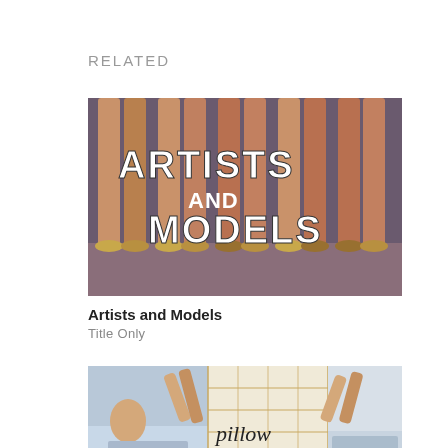RELATED
[Figure (photo): Movie title card for 'Artists and Models' showing legs of women in heels with bold white text overlay]
Artists and Models
Title Only
[Figure (photo): Movie title card for 'Pillow Talk' showing a split scene with a person lying down and script text reading 'pillow talk']